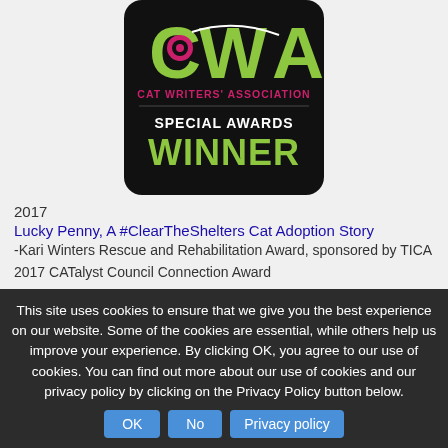[Figure (logo): Cat Writers' Association Special Awards Winner badge — black rounded rectangle with lime green CWA letters, pink circle, white text 'CAT WRITERS' ASSOCIATION SPECIAL AWARDS' and lime green text 'WINNER']
2017
Lucky Penny, A #ClearTheShelters Cat Adoption Story
-Kari Winters Rescue and Rehabilitation Award, sponsored by TICA
2017 CATalyst Council Connection Award
2018
Almost as Good as a Spa Day: Taking Your Cat to the Vet Doesn't Have to Be Stressful
This site uses cookies to ensure that we give you the best experience on our website. Some of the cookies are essential, while others help us improve your experience. By clicking OK, you agree to our use of cookies. You can find out more about our use of cookies and our privacy policy by clicking on the Privacy Policy button below.